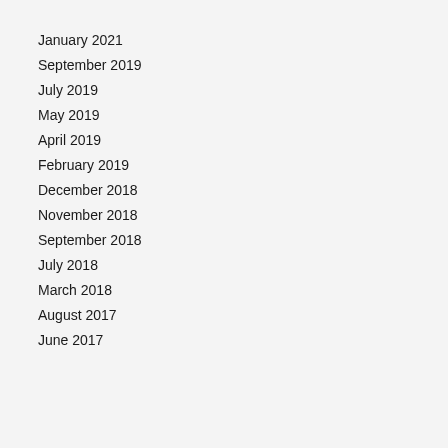January 2021
September 2019
July 2019
May 2019
April 2019
February 2019
December 2018
November 2018
September 2018
July 2018
March 2018
August 2017
June 2017